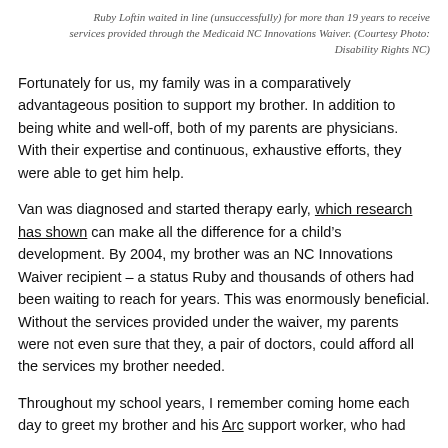Ruby Loftin waited in line (unsuccessfully) for more than 19 years to receive services provided through the Medicaid NC Innovations Waiver. (Courtesy Photo: Disability Rights NC)
Fortunately for us, my family was in a comparatively advantageous position to support my brother. In addition to being white and well-off, both of my parents are physicians. With their expertise and continuous, exhaustive efforts, they were able to get him help.
Van was diagnosed and started therapy early, which research has shown can make all the difference for a child’s development. By 2004, my brother was an NC Innovations Waiver recipient – a status Ruby and thousands of others had been waiting to reach for years. This was enormously beneficial. Without the services provided under the waiver, my parents were not even sure that they, a pair of doctors, could afford all the services my brother needed.
Throughout my school years, I remember coming home each day to greet my brother and his Arc support worker, who had